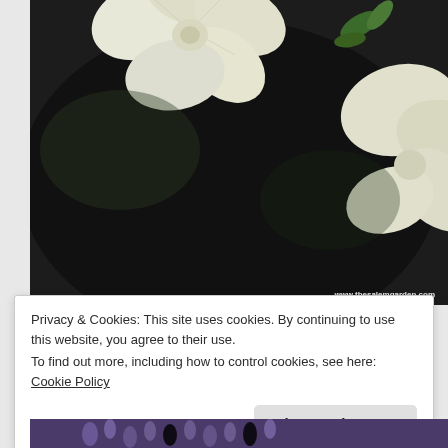[Figure (photo): Close-up photograph of white petunia flowers against a dark background. Two white/cream trumpet-shaped flowers are visible with green foliage. Watermark text 'www.thesalemgarden.com' in bottom right corner.]
Privacy & Cookies: This site uses cookies. By continuing to use this website, you agree to their use.
To find out more, including how to control cookies, see here: Cookie Policy
Close and accept
[Figure (photo): Partial view of purple flowers (likely lavender or muscari) at the bottom of the page.]